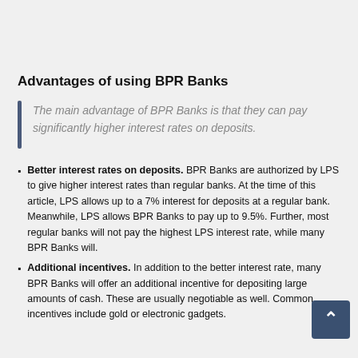Advantages of using BPR Banks
The main advantage of BPR Banks is that they can pay significantly higher interest rates on deposits.
Better interest rates on deposits. BPR Banks are authorized by LPS to give higher interest rates than regular banks. At the time of this article, LPS allows up to a 7% interest for deposits at a regular bank. Meanwhile, LPS allows BPR Banks to pay up to 9.5%. Further, most regular banks will not pay the highest LPS interest rate, while many BPR Banks will.
Additional incentives. In addition to the better interest rate, many BPR Banks will offer an additional incentive for depositing large amounts of cash. These are usually negotiable as well. Common incentives include gold or electronic gadgets.